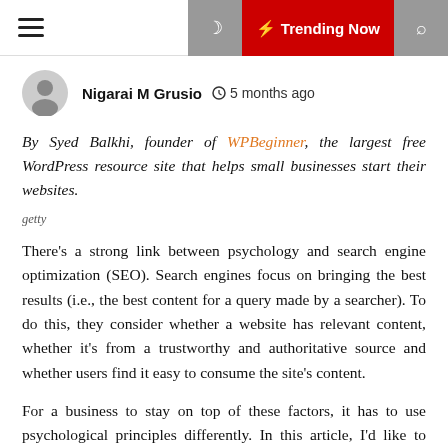≡  🌙  ⚡ Trending Now  🔍
Nigarai M Grusio  🕐 5 months ago
By Syed Balkhi, founder of WPBeginner, the largest free WordPress resource site that helps small businesses start their websites.
getty
There's a strong link between psychology and search engine optimization (SEO). Search engines focus on bringing the best results (i.e., the best content for a query made by a searcher). To do this, they consider whether a website has relevant content, whether it's from a trustworthy and authoritative source and whether users find it easy to consume the site's content.
For a business to stay on top of these factors, it has to use psychological principles differently. In this article, I'd like to share precisely how thinking about the psychology...